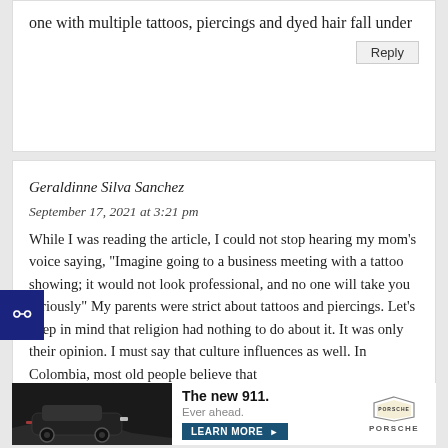one with multiple tattoos, piercings and dyed hair fall under
Reply
Geraldinne Silva Sanchez
September 17, 2021 at 3:21 pm
While I was reading the article, I could not stop hearing my mom’s voice saying, “Imagine going to a business meeting with a tattoo showing; it would not look professional, and no one will take you seriously” My parents were strict about tattoos and piercings. Let’s keep in mind that religion had nothing to do about it. It was only their opinion. I must say that culture influences as well. In Colombia, most old people believe that
[Figure (other): Accessibility widget icon (person with arms out on dark blue background)]
[Figure (other): Porsche advertisement banner: photo of black Porsche 911 on road with yellow arrows, text 'The new 911. Ever ahead.' with LEARN MORE button and Porsche logo]